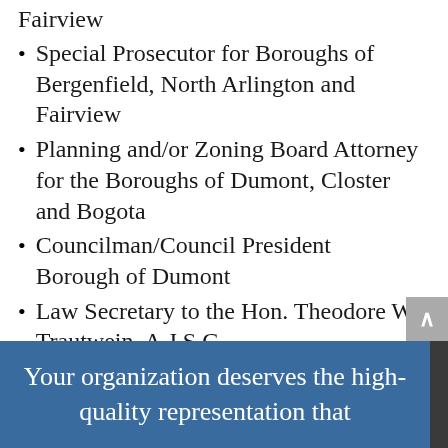Fairview
Special Prosecutor for Boroughs of Bergenfield, North Arlington and Fairview
Planning and/or Zoning Board Attorney for the Boroughs of Dumont, Closter and Bogota
Councilman/Council President Borough of Dumont
Law Secretary to the Hon. Theodore W. Trautwein, A.J.S.C.
Treasurer – Bergen County Democratic Organization
Your organization deserves the high-quality representation that